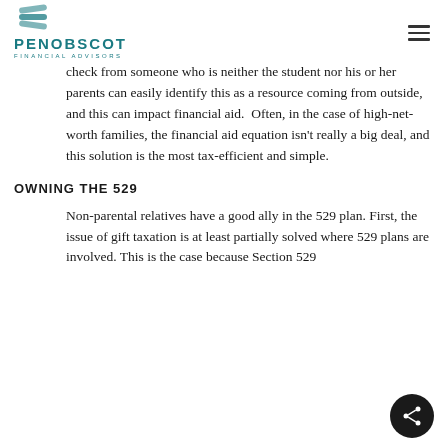PENOBSCOT FINANCIAL ADVISORS
check from someone who is neither the student nor his or her parents can easily identify this as a resource coming from outside, and this can impact financial aid.  Often, in the case of high-net-worth families, the financial aid equation isn't really a big deal, and this solution is the most tax-efficient and simple.
OWNING THE 529
Non-parental relatives have a good ally in the 529 plan. First, the issue of gift taxation is at least partially solved where 529 plans are involved. This is the case because Section 529